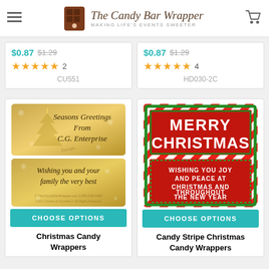The Candy Bar Wrapper — MAKING LIFE'S EVENTS SWEETER
$0.87  $1.29 ★★★★★ 2  CU551
$0.87  $1.29 ★★★★★ 4  HD030-2C
[Figure (photo): Gold Christmas candy bar wrapper with Christmas tree - Seasons Greetings From C.G. Enterprise, and second wrapper: Wishing you and your family the very best]
CHOOSE OPTIONS
Christmas Candy Wrappers
[Figure (photo): Red and green candy stripe Christmas candy bar wrapper with MERRY CHRISTMAS and WISHING YOU JOY AND PEACE AT CHRISTMAS AND THROUGHOUT THE NEW YEAR]
CHOOSE OPTIONS
Candy Stripe Christmas Candy Wrappers